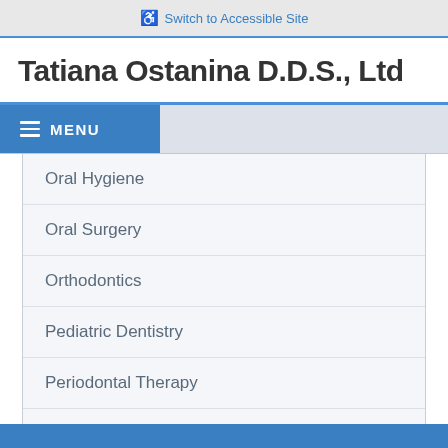♿ Switch to Accessible Site
Tatiana Ostanina D.D.S., Ltd
☰ MENU
Oral Hygiene
Oral Surgery
Orthodontics
Pediatric Dentistry
Periodontal Therapy
Technology